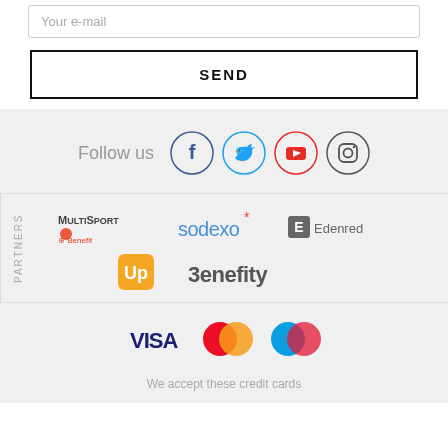Your e-mail
SEND
Follow us
[Figure (logo): Social media icons: Facebook, Twitter, YouTube, Instagram in circles]
PARTNERS
[Figure (logo): Partner logos: MultiSport Benefit, sodexo, Edenred, Up, Benefity]
[Figure (logo): Payment method logos: VISA, MasterCard, Maestro]
We accept these credit cards